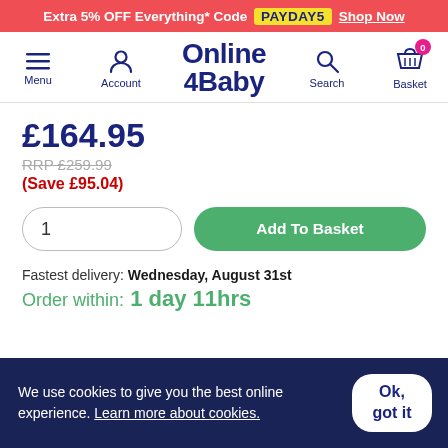Extra 5% OFF Everything* Code PAYDAY5 Shop Now
[Figure (screenshot): Online 4 Baby website navigation bar with Menu, Account, logo, Search, and Basket icons]
£164.95
RRP £259.99
(Save £95.04)
1  Add To Basket
Fastest delivery: Wednesday, August 31st
Order within: 1 day 11hrs
We use cookies to give you the best online experience. Learn more about cookies.  Ok, got it